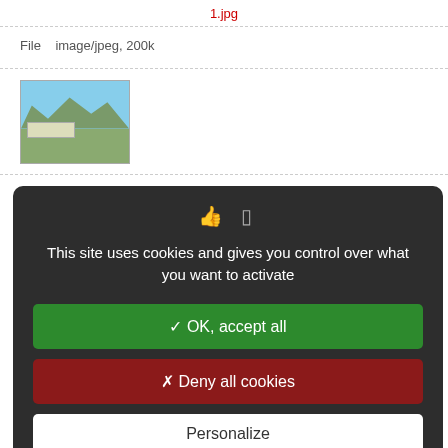1.jpg
File   image/jpeg, 200k
[Figure (photo): Thumbnail photograph of a landscape with mountains and a building/palace in the foreground]
an Palace
o/docannexe/image/4894/img-
the Tobiad Territory.
o/docannexe/image/4894/img-
This site uses cookies and gives you control over what you want to activate
✓ OK, accept all
✗ Deny all cookies
Personalize
Privacy policy